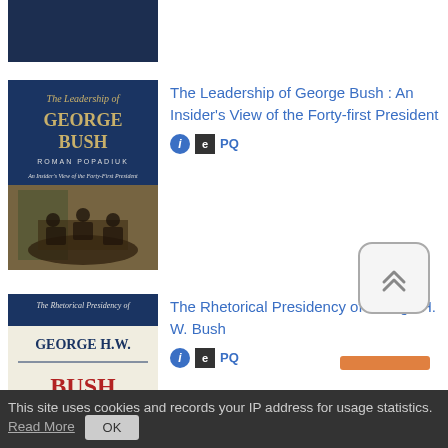[Figure (illustration): Partial top view of a dark navy book cover, cropped]
[Figure (illustration): Book cover: The Leadership of George Bush: An Insider's View of the Forty-first President by Roman Popadiuk. Dark blue cover with gold text and photo of people in oval office.]
The Leadership of George Bush : An Insider's View of the Forty-first President
[Figure (illustration): Book cover: The Rhetorical Presidency of George H.W. Bush. Blue and white cover with red and blue text.]
The Rhetorical Presidency of George H. W. Bush
This site uses cookies and records your IP address for usage statistics. Read More OK